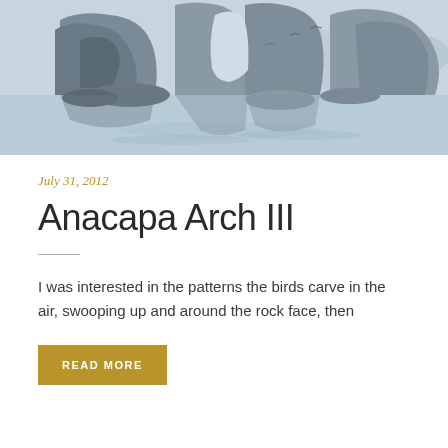[Figure (illustration): Watercolor painting of Anacapa Arch — rocky sea stacks and an arch formation reflected in calm water, painted in muted blues and grays]
July 31, 2012
Anacapa Arch III
I was interested in the patterns the birds carve in the air, swooping up and around the rock face, then
READ MORE